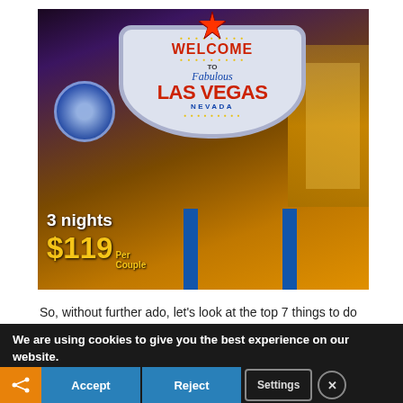[Figure (photo): Las Vegas Welcome Sign at night with 3 nights $119 Per Couple overlay text. The famous 'Welcome to Fabulous Las Vegas Nevada' sign is lit up against a dark night sky with casino buildings in the background.]
So, without further ado, let's look at the top 7 things to do
We are using cookies to give you the best experience on our website.
You can find out more about which cookies we are using or
[Figure (screenshot): Social media sharing bar with icons: Facebook (f), Twitter bird, MW, Parler (P), flag, LinkedIn (in), G+, Reddit, Instagram, and Tweet label]